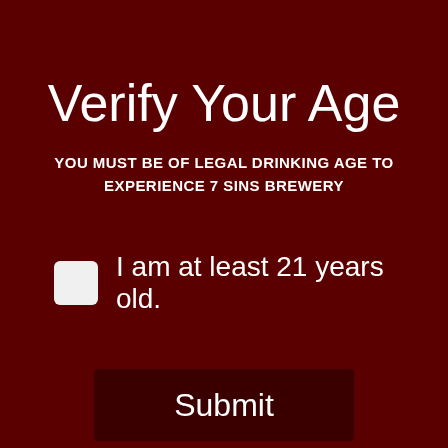Verify Your Age
YOU MUST BE OF LEGAL DRINKING AGE TO EXPERIENCE 7 SINS BREWERY
I am at least 21 years old.
Submit